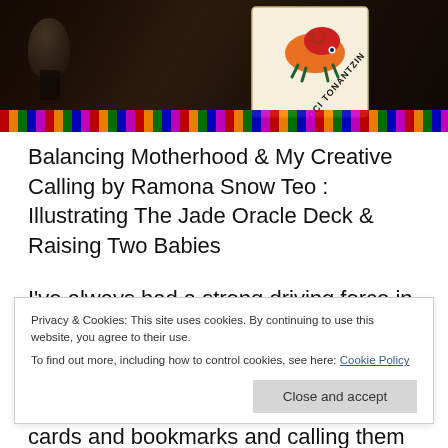[Figure (photo): Dark photograph showing a decorative card with colorful illustration and text 'TOCI TONANTZIN', placed on colorful woven fabric, with a dark ornamental object to the left]
Balancing Motherhood & My Creative Calling by Ramona Snow Teo : Illustrating The Jade Oracle Deck & Raising Two Babies
I've always had a strong driving force in me, calling me to create. As a child I loved to draw, color, make clothes for my barbies, and build houses for my pet
Privacy & Cookies: This site uses cookies. By continuing to use this website, you agree to their use.
To find out more, including how to control cookies, see here: Cookie Policy
cards and bookmarks and calling them to my friends